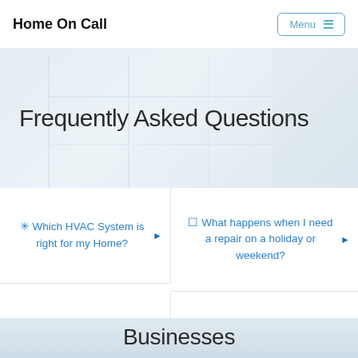Home On Call
Frequently Asked Questions
✳ Which HVAC System is right for my Home?
🔧 What happens when I need a repair on a holiday or weekend?
🔧 How do I start an HVAC Service Company?
🔧 How do I know if I need a new heater or air conditioner?
Businesses